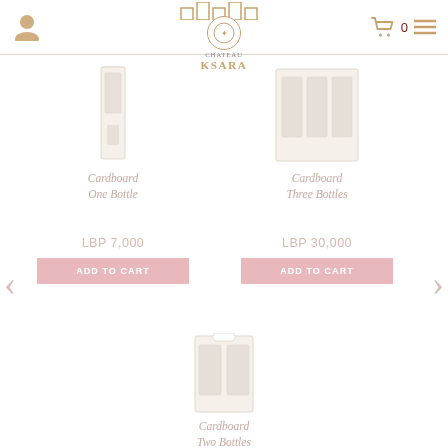Chateau KSARA — navigation header with user icon, logo, cart (0), menu
[Figure (photo): Cardboard one-bottle carrier product image — white cardboard single bottle box]
Cardboard One Bottle
LBP 7,000
ADD TO CART
[Figure (photo): Cardboard three-bottles carrier product image — white cardboard box for three bottles]
Cardboard Three Bottles
LBP 30,000
ADD TO CART
[Figure (photo): Cardboard two-bottles carrier product image — white cardboard box for two bottles]
Cardboard Two Bottles